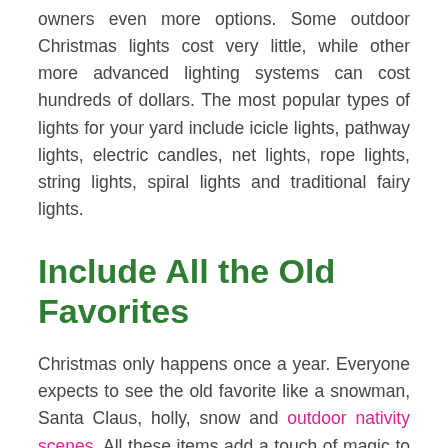owners even more options. Some outdoor Christmas lights cost very little, while other more advanced lighting systems can cost hundreds of dollars. The most popular types of lights for your yard include icicle lights, pathway lights, electric candles, net lights, rope lights, string lights, spiral lights and traditional fairy lights.
Include All the Old Favorites
Christmas only happens once a year. Everyone expects to see the old favorite like a snowman, Santa Claus, holly, snow and outdoor nativity scenes. All these items add a touch of magic to your home as Christmas approaches. Just make sure you have the space to add them all.